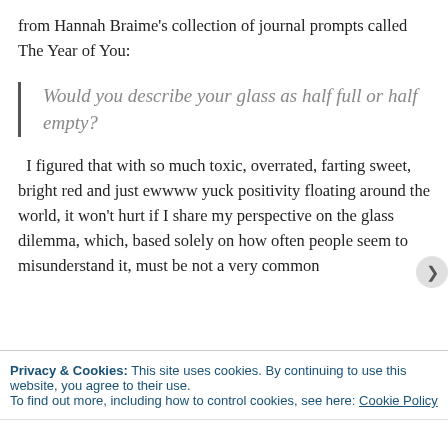from Hannah Braime's collection of journal prompts called The Year of You:
Would you describe your glass as half full or half empty?
I figured that with so much toxic, overrated, farting sweet, bright red and just ewwww yuck positivity floating around the world, it won't hurt if I share my perspective on the glass dilemma, which, based solely on how often people seem to misunderstand it, must be not a very common
Privacy & Cookies: This site uses cookies. By continuing to use this website, you agree to their use.
To find out more, including how to control cookies, see here: Cookie Policy
Close and accept